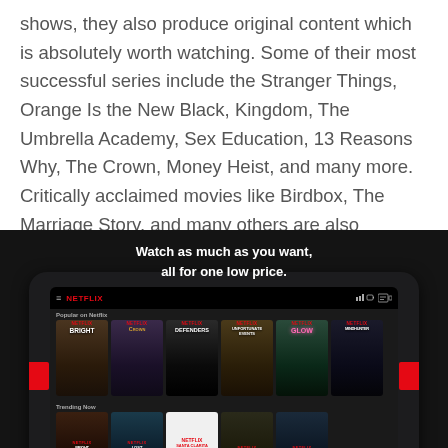shows, they also produce original content which is absolutely worth watching. Some of their most successful series include the Stranger Things, Orange Is the New Black, Kingdom, The Umbrella Academy, Sex Education, 13 Reasons Why, The Crown, Money Heist, and many more. Critically acclaimed movies like Birdbox, The Marriage Story, and many others are also originally produced by Netflix.
[Figure (screenshot): Netflix promotional screenshot showing a tablet device with the Netflix interface displaying popular shows including Bright, The Crown, Defenders, A Series of Unfortunate Events, GLOW, and Mindhunter. Text overlay reads 'Watch as much as you want, all for one low price.']